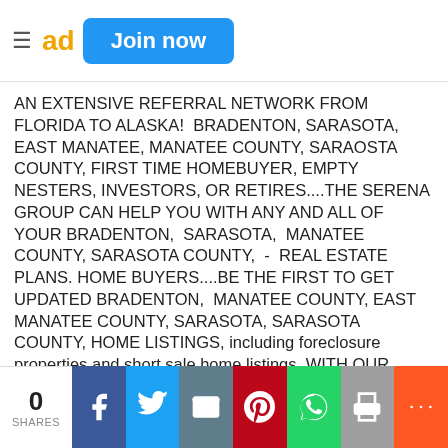Join now
AN EXTENSIVE REFERRAL NETWORK FROM FLORIDA TO ALASKA!  BRADENTON, SARASOTA, EAST MANATEE, MANATEE COUNTY, SARAOSTA COUNTY, FIRST TIME HOMEBUYER, EMPTY NESTERS, INVESTORS, OR RETIRES....THE SERENA GROUP CAN HELP YOU WITH ANY AND ALL OF YOUR BRADENTON,  SARASOTA,  MANATEE COUNTY, SARASOTA COUNTY,  -  REAL ESTATE PLANS. HOME BUYERS....BE THE FIRST TO GET UPDATED BRADENTON,  MANATEE COUNTY, EAST MANATEE COUNTY, SARASOTA, SARASOTA COUNTY, HOME LISTINGS, including foreclosure properties and short sale home listings, WITH OUR "DAILY NEW LISTING NOTIFICATION SERVICE" AND FIND UP TO DATE BRADENTON, SARASOTA,  MORTGAGE INFORMATION.  VISIT OUR "$TIPS VAULT$" TO GET
0 SHARES | Facebook | Twitter | Email | Pinterest | WhatsApp | Print | More